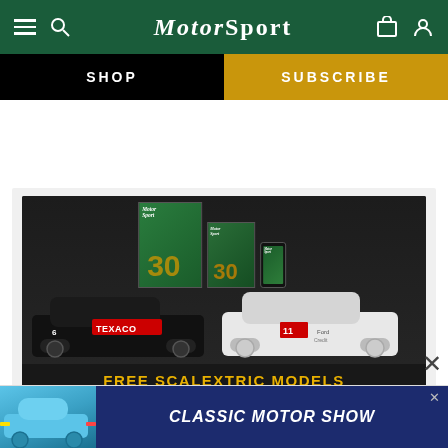MotorSport
SHOP
SUBSCRIBE
[Figure (illustration): Motor Sport magazine subscription promo showing magazine covers, digital tablet and phone versions, two Ford Sierra Cosworth Scalextric models (one black with Texaco livery #6, one white #11), with text FREE SCALEXTRIC MODELS WHEN YOU SUBSCRIBE]
[Figure (photo): Bottom advertisement banner showing a blue Porsche 911 and dark blue background with text CLASSIC MOTOR SHOW]